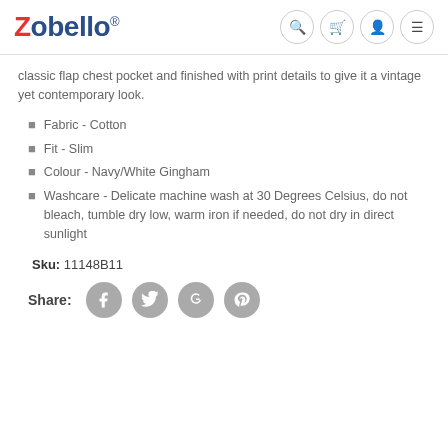Zobello®
classic flap chest pocket and finished with print details to give it a vintage yet contemporary look.
Fabric - Cotton
Fit - Slim
Colour - Navy/White Gingham
Washcare - Delicate machine wash at 30 Degrees Celsius, do not bleach, tumble dry low, warm iron if needed, do not dry in direct sunlight
Sku: 11148B11
Share: